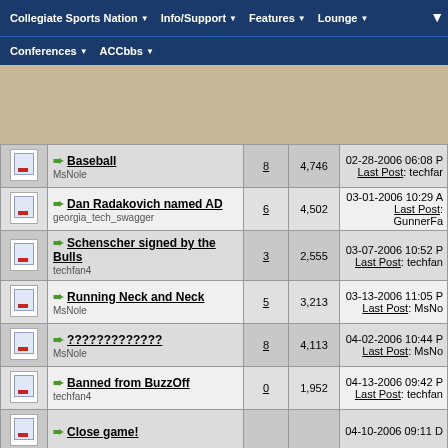Collegiate Sports Nation | Info/Support | Features | Lounge | Conferences | ACCbbs
|  | Topic | Replies | Views | Last Post |
| --- | --- | --- | --- | --- |
| [icon] | Baseball
MsNole | 8 | 4,746 | 02-28-2006 06:08 P
Last Post: techfan |
| [icon] | Dan Radakovich named AD
georgia_tech_swagger | 6 | 4,502 | 03-01-2006 10:29 A
Last Post: GunnerFa |
| [icon] | Schenscher signed by the Bulls
techfan4 | 3 | 2,555 | 03-07-2006 10:52 P
Last Post: techfan |
| [icon] | Running Neck and Neck
MsNole | 5 | 3,213 | 03-13-2006 11:05 P
Last Post: MsNo |
| [icon] | ?????????????
MsNole | 8 | 4,113 | 04-02-2006 10:44 P
Last Post: MsNo |
| [icon] | Banned from BuzzOff
techfan4 | 0 | 1,952 | 04-13-2006 09:42 P
Last Post: techfan |
| [icon] | Close game! |  |  | 04-10-2006 09:11 D |